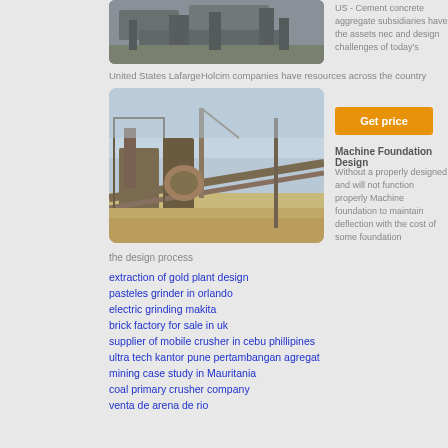[Figure (photo): Aerial view of industrial/mining facility, partially cut off at top]
United States LafargeHolcim companies have resources across the country
[Figure (photo): Mining/quarry machinery and conveyor belts on a dusty site]
US - Cement concrete aggregate subsidiaries have the assets nec and design challenges of today's
Get price
Machine Foundation Design
Without a properly designed and will not function properly Machine foundation to maintain deflection with the cost of some foundation
the design process
extraction of gold plant design
pasteles grinder in orlando
electric grinding makita
brick factory for sale in uk
supplier of mobile crusher in cebu phillipines
ultra tech kantor pune pertambangan agregat
mining case study in Mauritania
coal primary crusher company
venta de arena de rio